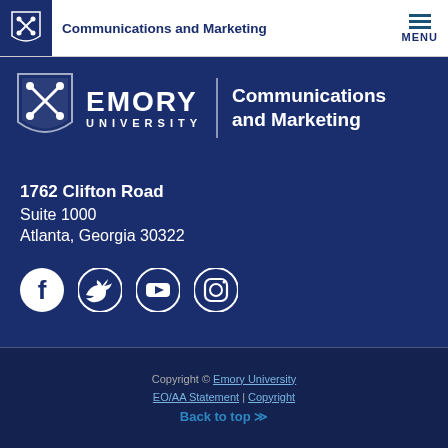Communications and Marketing
[Figure (logo): Emory University shield logo and wordmark with Communications and Marketing division name on dark blue background banner]
1762 Clifton Road
Suite 1000
Atlanta, Georgia 30322
[Figure (infographic): Social media icons: Facebook, Twitter, YouTube, Instagram]
Copyright © Emory University | EO/AA Statement | Copyright | Back to top